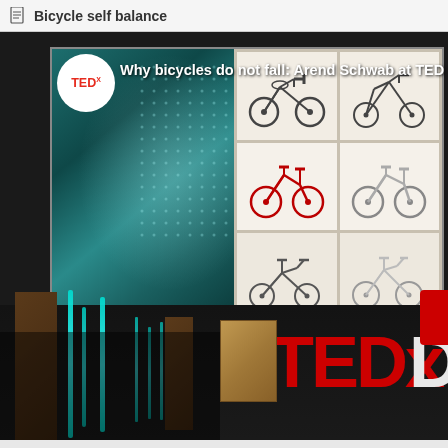Bicycle self balance
[Figure (screenshot): Screenshot of a TEDx video titled 'Why bicycles do not fall: Arend Schwab at TEDx'. Shows a TED talk stage with the TEDx logo visible on screen, a presentation slide showing a grid of various bicycle designs, TEDx branding letters on the stage floor, a wooden podium, and vertical light bar decorations on the back wall.]